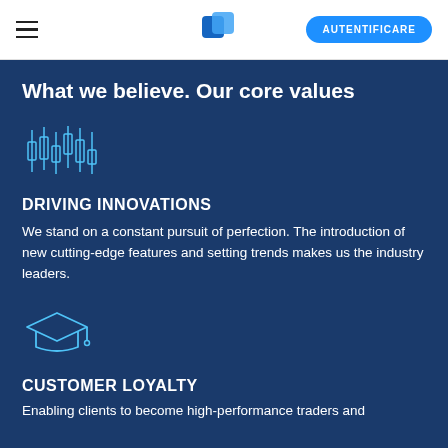AUTENTIFICARE
What we believe. Our core values
[Figure (illustration): Candlestick chart icon in light blue outline style]
DRIVING INNOVATIONS
We stand on a constant pursuit of perfection. The introduction of new cutting-edge features and setting trends makes us the industry leaders.
[Figure (illustration): Graduation cap icon in light blue outline style]
CUSTOMER LOYALTY
Enabling clients to become high-performance traders and